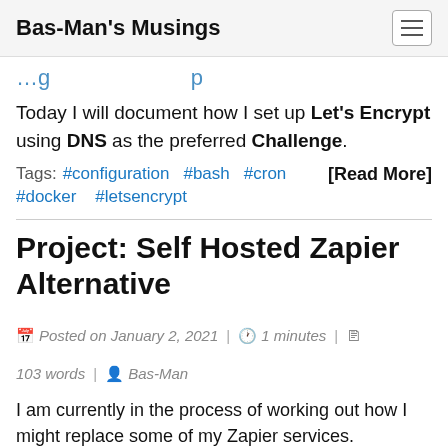Bas-Man's Musings
…using DNS as the preferred Challenge.
Today I will document how I set up Let's Encrypt using DNS as the preferred Challenge.
Tags: #configuration #bash #cron #docker #letsencrypt [Read More]
Project: Self Hosted Zapier Alternative
Posted on January 2, 2021 | 1 minutes | 103 words | Bas-Man
I am currently in the process of working out how I might replace some of my Zapier services.